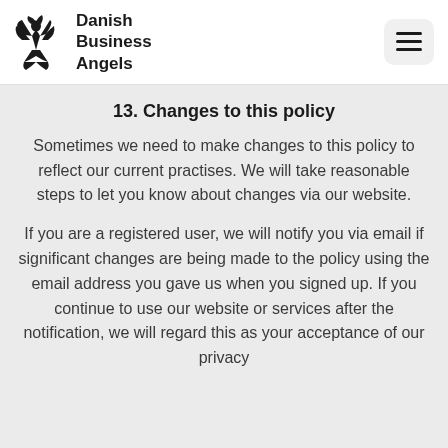Danish Business Angels
13. Changes to this policy
Sometimes we need to make changes to this policy to reflect our current practises. We will take reasonable steps to let you know about changes via our website.
If you are a registered user, we will notify you via email if significant changes are being made to the policy using the email address you gave us when you signed up. If you continue to use our website or services after the notification, we will regard this as your acceptance of our privacy